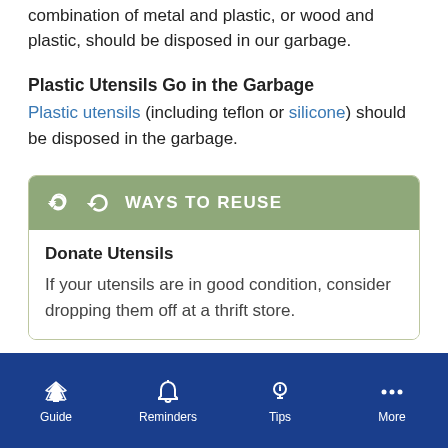combination of metal and plastic, or wood and plastic, should be disposed in our garbage.
Plastic Utensils Go in the Garbage
Plastic utensils (including teflon or silicone) should be disposed in the garbage.
WAYS TO REUSE
Donate Utensils
If your utensils are in good condition, consider dropping them off at a thrift store.
Guide | Reminders | Tips | More